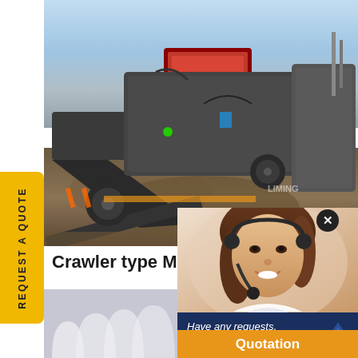[Figure (photo): Crawler type mobile crushing plant/machinery on a construction/quarry site, with conveyor belts, red hopper, and heavy industrial equipment against a blue sky background]
REQUEST A QUOTE
Crawler type Mobile Crush
[Figure (photo): Female customer service representative smiling, wearing a headset/microphone]
[Figure (photo): Close-up of architectural element showing repeating curved archways or pillars in white/gray]
Have any requests, click here.
Quotation